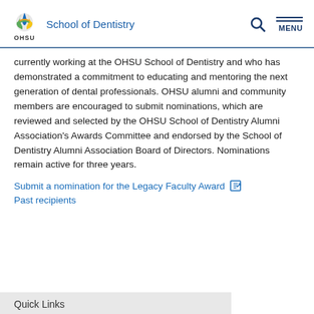School of Dentistry
currently working at the OHSU School of Dentistry and who has demonstrated a commitment to educating and mentoring the next generation of dental professionals. OHSU alumni and community members are encouraged to submit nominations, which are reviewed and selected by the OHSU School of Dentistry Alumni Association's Awards Committee and endorsed by the School of Dentistry Alumni Association Board of Directors. Nominations remain active for three years.
Submit a nomination for the Legacy Faculty Award
Past recipients
Quick Links